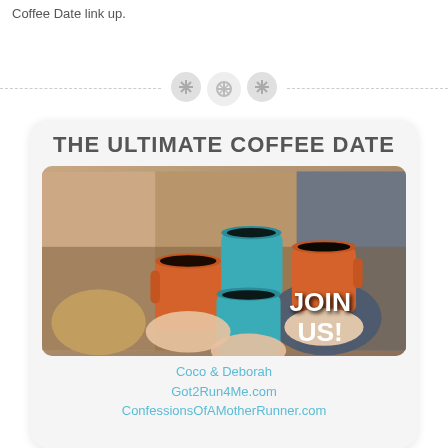Coffee Date link up.
[Figure (illustration): Three circular button icons on a dashed horizontal divider line]
[Figure (photo): Card with 'THE ULTIMATE COFFEE DATE' title and a photo of people holding orange and teal coffee mugs together with 'JOIN US!' text overlay, followed by 'Coco & Deborah', 'Got2Run4Me.com', 'ConfessionsOfAMotherRunner.com' links]
Coco & Deborah
Got2Run4Me.com
ConfessionsOfAMotherRunner.com